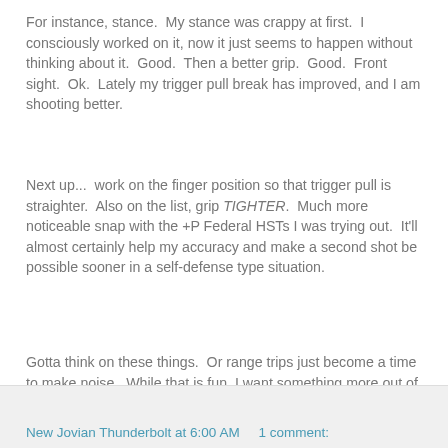For instance, stance.  My stance was crappy at first.  I consciously worked on it, now it just seems to happen without thinking about it.  Good.  Then a better grip.  Good.  Front sight.  Ok.  Lately my trigger pull break has improved, and I am shooting better.
Next up...  work on the finger position so that trigger pull is straighter.  Also on the list, grip TIGHTER.  Much more noticeable snap with the +P Federal HSTs I was trying out.  It'll almost certainly help my accuracy and make a second shot be possible sooner in a self-defense type situation.
Gotta think on these things.  Or range trips just become a time to make noise.  While that is fun, I want something more out of my ammo budget than mere noise makings.
The other problem, when a problem is identified and focused on it seems to take an exorbinantly long time on some of them.   Probably the slow-head thing again.
New Jovian Thunderbolt at 6:00 AM    1 comment: